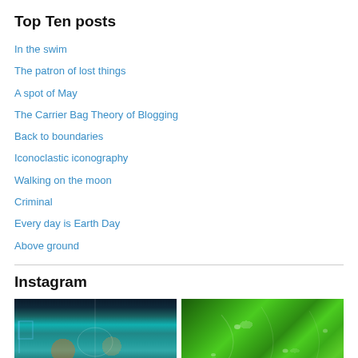Top Ten posts
In the swim
The patron of lost things
A spot of May
The Carrier Bag Theory of Blogging
Back to boundaries
Iconoclastic iconography
Walking on the moon
Criminal
Every day is Earth Day
Above ground
Instagram
[Figure (photo): Basketball court crowd scene with players and spectators, teal/cyan toned]
[Figure (photo): Close-up of green leaves with water droplets]